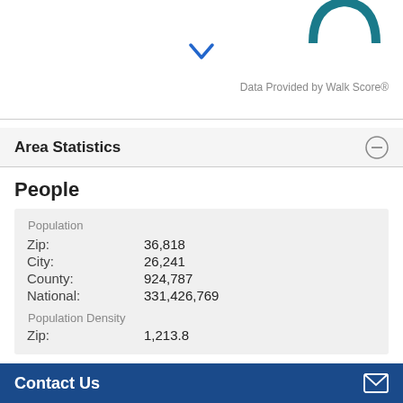[Figure (logo): Partial teal/blue circular logo cropped at top right corner]
[Figure (illustration): Blue downward chevron/arrow icon]
Data Provided by Walk Score®
Area Statistics
People
| Population |  |
| Zip: | 36,818 |
| City: | 26,241 |
| County: | 924,787 |
| National: | 331,426,769 |
| Population Density |  |
| Zip: | 1,213.8 |
Contact Us